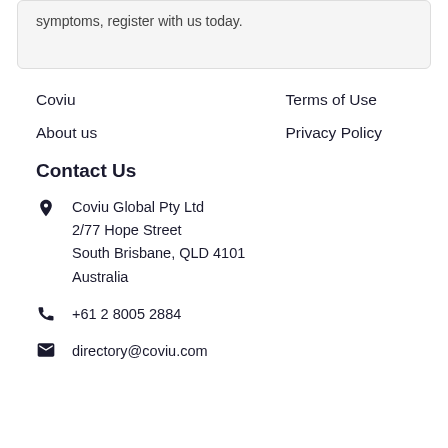symptoms, register with us today.
Coviu
Terms of Use
About us
Privacy Policy
Contact Us
Coviu Global Pty Ltd
2/77 Hope Street
South Brisbane, QLD 4101
Australia
+61 2 8005 2884
directory@coviu.com